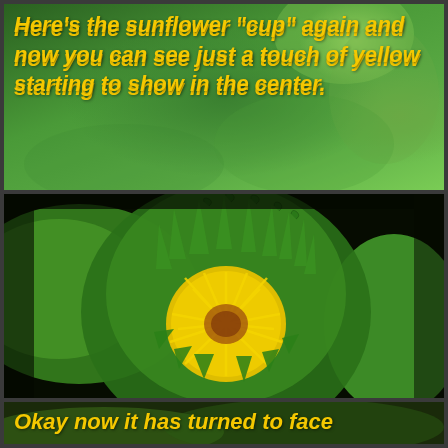[Figure (photo): Close-up photo of a sunflower bud still enclosed in green bracts with just a hint of yellow petals beginning to emerge at the center. Blurred green foliage in background.]
Here’s the sunflower “cup” again and now you can see just a touch of yellow starting to show in the center.
[Figure (photo): Macro photograph of a sunflower bud with spiky green bracts surrounding a brilliant yellow center of emerging petals, against a dark background with green leaves visible.]
Okay now it has turned to face